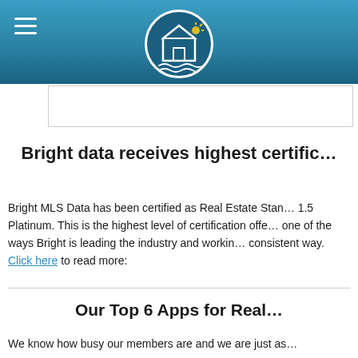Bright MLS website header with logo and navigation
Bright data receives highest certific…
Bright MLS Data has been certified as Real Estate Stan… 1.5 Platinum. This is the highest level of certification offe… one of the ways Bright is leading the industry and workin… consistent way. Click here to read more:
Our Top 6 Apps for Real…
We know how busy our members are and we are just as…